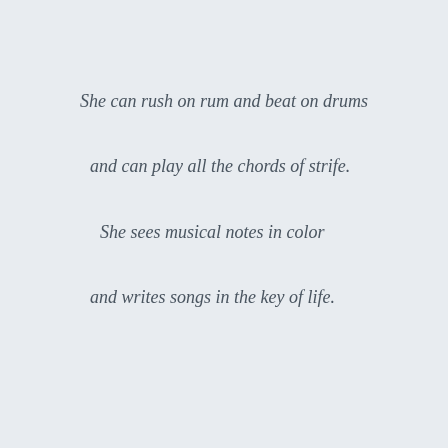She can rush on rum and beat on drums
and can play all the chords of strife.
She sees musical notes in color
and writes songs in the key of life.